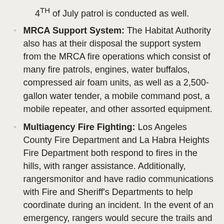4TH of July patrol is conducted as well.
MRCA Support System: The Habitat Authority also has at their disposal the support system from the MRCA fire operations which consist of many fire patrols, engines, water buffalos, compressed air foam units, as well as a 2,500-gallon water tender, a mobile command post, a mobile repeater, and other assorted equipment.
Multiagency Fire Fighting: Los Angeles County Fire Department and La Habra Heights Fire Department both respond to fires in the hills, with ranger assistance. Additionally, rangersmonitor and have radio communications with Fire and Sheriff's Departments to help coordinate during an incident. In the event of an emergency, rangers would secure the trails and evacuate trail users for their safety. During fires, rangers can be